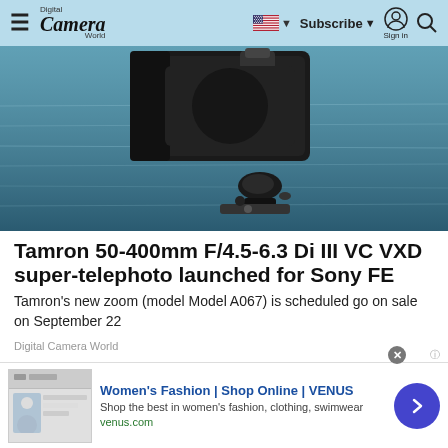Digital Camera World — Subscribe | Sign in | Search
[Figure (photo): A Tamron super-telephoto lens mounted on a Sony camera body on a tripod, photographed over a body of water with bokeh background]
Tamron 50-400mm F/4.5-6.3 Di III VC VXD super-telephoto launched for Sony FE
Tamron's new zoom (model Model A067) is scheduled go on sale on September 22
Digital Camera World
[Figure (photo): Partial view of a second article hero image showing wooden surface and blue tones]
[Figure (other): Advertisement: Women's Fashion | Shop Online | VENUS — Shop the best in women's fashion, clothing, swimwear — venus.com]